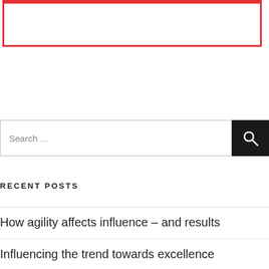[Figure (other): Red bordered box at top of page with red top bar]
Search ...
RECENT POSTS
How agility affects influence – and results
Influencing the trend towards excellence